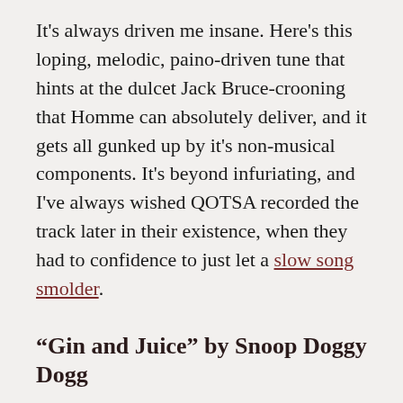It's always driven me insane. Here's this loping, melodic, paino-driven tune that hints at the dulcet Jack Bruce-crooning that Homme can absolutely deliver, and it gets all gunked up by it's non-musical components. It's beyond infuriating, and I've always wished QOTSA recorded the track later in their existence, when they had to confidence to just let a slow song smolder.
“Gin and Juice” by Snoop Doggy Dogg
By virtue of featuring flatulence after the sounds of a drink being poured, this is by far the most obnoxious opening to any of these songs, but it might also be an easy one to S...